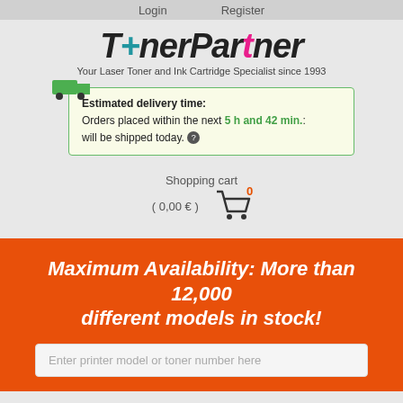Login   Register
[Figure (logo): TonerPartner logo with colored letters and tagline 'Your Laser Toner and Ink Cartridge Specialist since 1993']
Estimated delivery time: Orders placed within the next 5 h and 42 min.: will be shipped today.
Shopping cart ( 0,00 € )
Maximum Availability: More than 12,000 different models in stock!
Enter printer model or toner number here